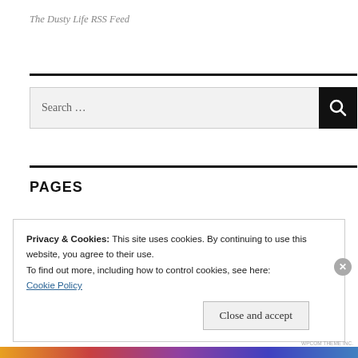The Dusty Life RSS Feed
[Figure (other): Search bar with text 'Search ...' and black search button with magnifying glass icon]
PAGES
Privacy & Cookies: This site uses cookies. By continuing to use this website, you agree to their use.
To find out more, including how to control cookies, see here:
Cookie Policy
Close and accept